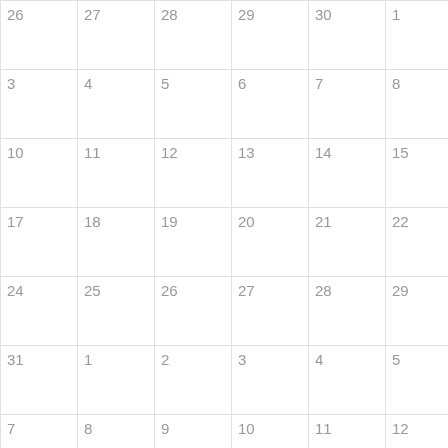| 26 | 27 | 28 | 29 | 30 | 1 | 2 |
| 3 | 4 | 5 | 6 | 7 | 8 | 9 |
| 10 | 11 | 12 | 13 | 14 | 15 | 16 |
| 17 | 18 | 19 | 20 | 21 | 22 | 23 |
| 24 | 25 | 26 | 27 | 28 | 29 | 30 |
| 31 | 1 | 2 | 3 | 4 | 5 | 6 |
| 7 | 8 | 9 | 10 | 11 | 12 | 13 |